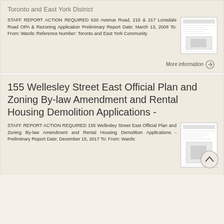Toronto and East York District
STAFF REPORT ACTION REQUIRED 620 Avenue Road, 215 & 217 Lonsdale Road OPA & Rezoning Application Preliminary Report Date: March 13, 2008 To: From: Wards: Reference Number: Toronto and East York Community
[Figure (other): Thumbnail image of a staff report document]
More information →
155 Wellesley Street East Official Plan and Zoning By-law Amendment and Rental Housing Demolition Applications -
STAFF REPORT ACTION REQUIRED 155 Wellesley Street East Official Plan and Zoning By-law Amendment and Rental Housing Demolition Applications - Preliminary Report Date: December 15, 2017 To: From: Wards:
[Figure (other): Thumbnail image of a staff report document]
[Figure (other): Back to top button with upward arrow]